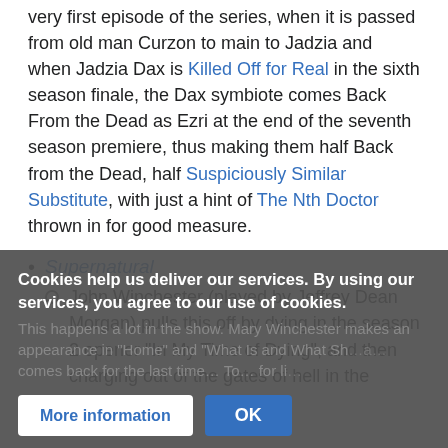very first episode of the series, when it is passed from old man Curzon to main to Jadzia and when Jadzia Dax is Killed Off for Real in the sixth season finale, the Dax symbiote comes Back From the Dead as Ezri at the end of the seventh season premiere, thus making them half Back from the Dead, half Suspiciously Similar Substitute, with just a hint of The Nth Doctor thrown in for good measure.
Supernatural
John Winchester (played by Jeffrey Dean Morgan) pulls this off by dying in the season 2 opener "In My Time of Dying", and then charging out of the gates of hell in the season finale.
This happens a lot in the show. Mary Winchester makes an appearance in "Home" and "What Is and What Sh... a ... comes back for the last time ... To ... for li...